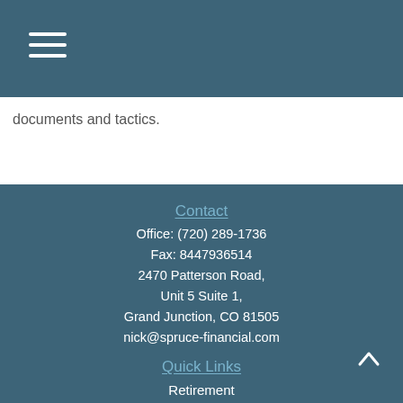documents and tactics.
Contact
Office: (720) 289-1736
Fax: 8447936514
2470 Patterson Road,
Unit 5 Suite 1,
Grand Junction, CO 81505
nick@spruce-financial.com
Quick Links
Retirement
Investment
Estate
Insurance